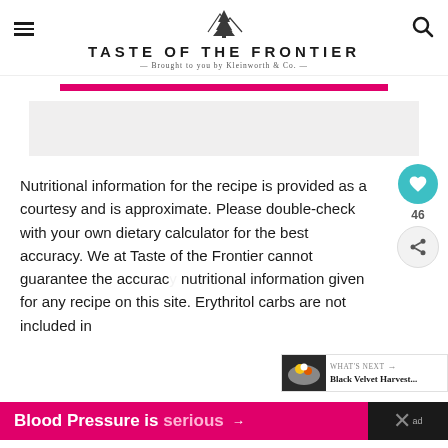TASTE OF THE FRONTIER
Brought to you by Kleinworth & Co.
[Figure (illustration): Pink horizontal progress/loading bar]
[Figure (illustration): Gray advertisement placeholder rectangle]
Nutritional information for the recipe is provided as a courtesy and is approximate. Please double-check with your own dietary calculator for the best accuracy. We at Taste of the Frontier cannot guarantee the accuracy nutritional information given for any recipe on this site. Erythritol carbs are not included in
[Figure (infographic): WHAT'S NEXT arrow label with Black Velvet Harvest... title and food thumbnail]
Blood Pressure is serious →